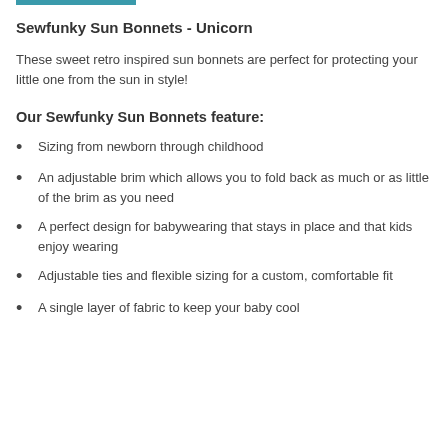Sewfunky Sun Bonnets - Unicorn
These sweet retro inspired sun bonnets are perfect for protecting your little one from the sun in style!
Our Sewfunky Sun Bonnets feature:
Sizing from newborn through childhood
An adjustable brim which allows you to fold back as much or as little of the brim as you need
A perfect design for babywearing that stays in place and that kids enjoy wearing
Adjustable ties and flexible sizing for a custom, comfortable fit
A single layer of fabric to keep your baby cool